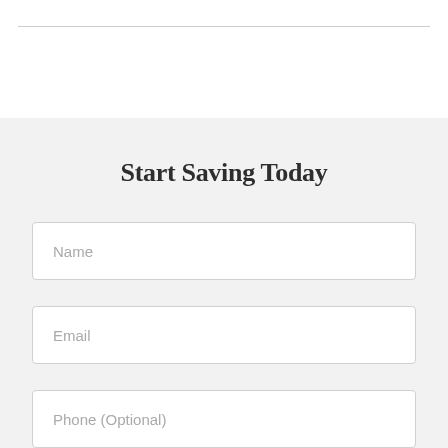Start Saving Today
Name
Email
Phone (Optional)